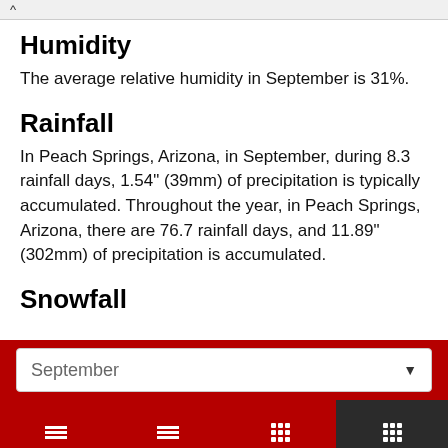Humidity
The average relative humidity in September is 31%.
Rainfall
In Peach Springs, Arizona, in September, during 8.3 rainfall days, 1.54" (39mm) of precipitation is typically accumulated. Throughout the year, in Peach Springs, Arizona, there are 76.7 rainfall days, and 11.89" (302mm) of precipitation is accumulated.
Snowfall
September
Today
Tomorrow
10 days
Climate